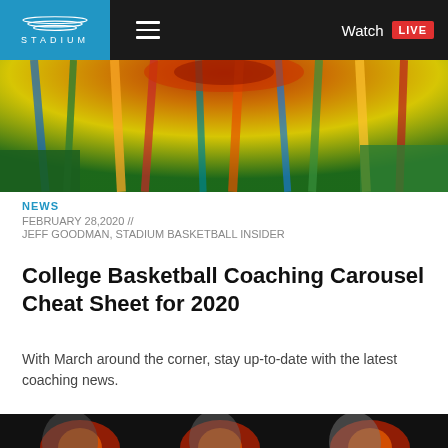STADIUM | Watch LIVE
[Figure (photo): Colorful carousel/merry-go-round viewed from below, with vivid red, green, yellow, blue streamers against green trees]
NEWS
FEBRUARY 28,2020 //
JEFF GOODMAN, STADIUM BASKETBALL INSIDER
College Basketball Coaching Carousel Cheat Sheet for 2020
With March around the corner, stay up-to-date with the latest coaching news.
[Figure (photo): Three college basketball coaches shown against a dark background with orange and red flame graphics]